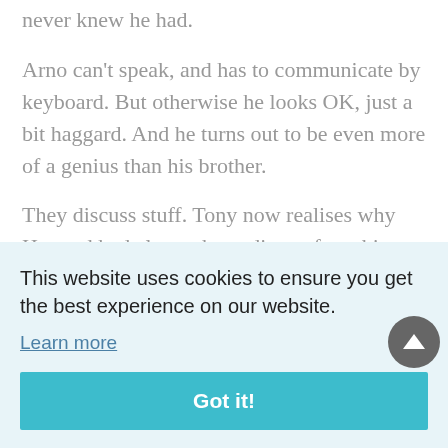never knew he had.
Arno can't speak, and has to communicate by keyboard. But otherwise he looks OK, just a bit haggard. And he turns out to be even more of a genius than his brother.
They discuss stuff. Tony now realises why Howard had always been distant from him. He tells Tony that Tony is
This website uses cookies to ensure you get the best experience on our website.
Learn more
Got it!